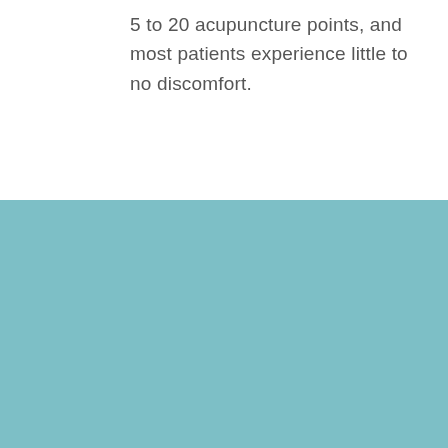5 to 20 acupuncture points, and most patients experience little to no discomfort.
What is Acupuncture?
Acupuncture is a comprehensive evaluation of your overall health from the viewpoint of the Traditional Chinese Medicine (TCM) is conducted to let the